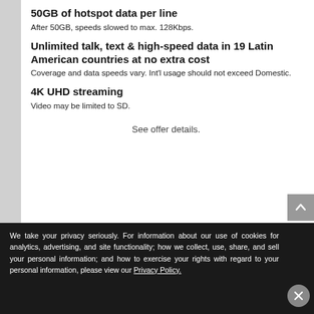50GB of hotspot data per line
After 50GB, speeds slowed to max. 128Kbps.
Unlimited talk, text & high-speed data in 19 Latin American countries at no extra cost
Coverage and data speeds vary. Int'l usage should not exceed Domestic.
4K UHD streaming
Video may be limited to SD.
See offer details.
¹Compatible device for AT&T ActiveArmor App. Download of App req'd. Some mobile features not avail. while roaming internationally.
We take your privacy seriously. For information about our use of cookies for analytics, advertising, and site functionality; how we collect, use, share, and sell your personal information; and how to exercise your rights with regard to your personal information, please view our Privacy Policy.